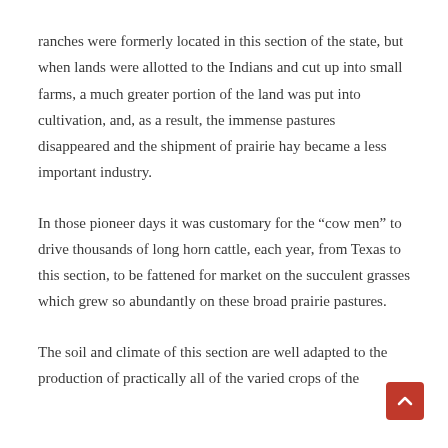ranches were formerly located in this section of the state, but when lands were allotted to the Indians and cut up into small farms, a much greater portion of the land was put into cultivation, and, as a result, the immense pastures disappeared and the shipment of prairie hay became a less important industry.
In those pioneer days it was customary for the “cow men” to drive thousands of long horn cattle, each year, from Texas to this section, to be fattened for market on the succulent grasses which grew so abundantly on these broad prairie pastures.
The soil and climate of this section are well adapted to the production of practically all of the varied crops of the